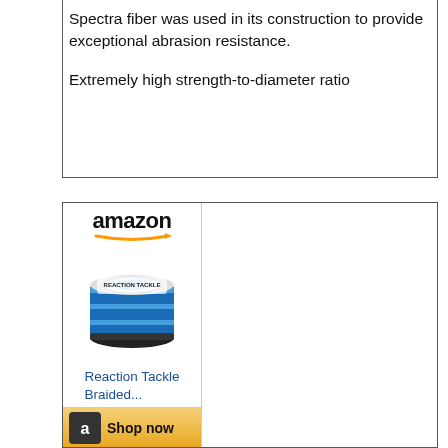Spectra fiber was used in its construction to provide exceptional abrasion resistance.

Extremely high strength-to-diameter ratio
[Figure (other): Amazon advertisement showing a spool of Reaction Tackle Braided fishing line with blue color, Amazon logo at top, product image in center, link text 'Reaction Tackle Braided...' and a 'Shop now' button at the bottom.]